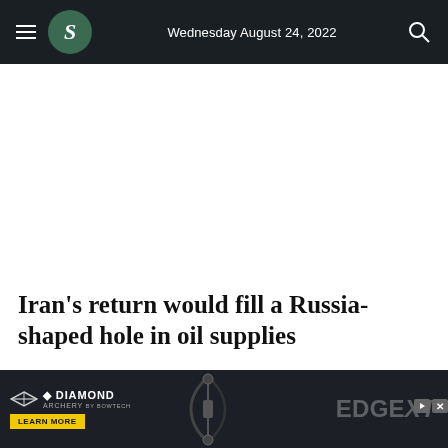Wednesday August 24, 2022
Iran's return would fill a Russia-shaped hole in oil supplies
[Figure (advertisement): Diamond Archery Edge XT advertisement banner with bow image, Learn More button, and ad icons]